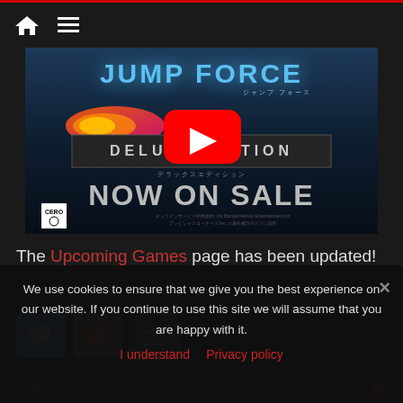Navigation bar with home icon and menu icon
[Figure (screenshot): Jump Force Deluxe Edition NOW ON SALE video thumbnail with YouTube play button overlay. Dark blue background, game title in blue at top, fire wing graphic, Deluxe Edition banner, NOW ON SALE text in large letters, small CERO rating box bottom left.]
The Upcoming Games page has been updated!
[Figure (other): Three social sharing buttons: Twitter (blue bird), Reddit (alien mascot on grey), and a grey more-options button]
We use cookies to ensure that we give you the best experience on our website. If you continue to use this site we will assume that you are happy with it.
I understand   Privacy policy
Related